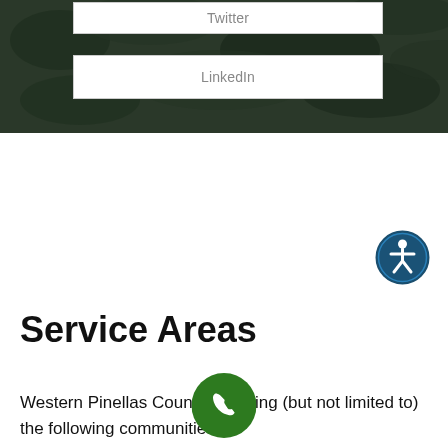[Figure (screenshot): Dark green foliage background with two white button overlays labeled Twitter and LinkedIn]
Twitter
LinkedIn
[Figure (illustration): Blue accessibility icon circle with a person/wheelchair symbol]
Service Areas
Western Pinellas County including (but not limited to) the following communities:
[Figure (illustration): Green circular phone/call button icon]